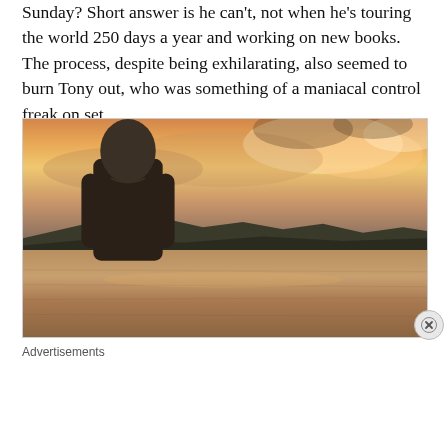Sunday? Short answer is he can't, not when he's touring the world 250 days a year and working on new books. The process, despite being exhilarating, also seemed to burn Tony out, who was something of a maniacal control freak on set.
[Figure (photo): A man standing outdoors near a body of water at sunset or dusk, with dramatic orange and golden clouds in the sky and a mountain silhouette in the background.]
Advertisements